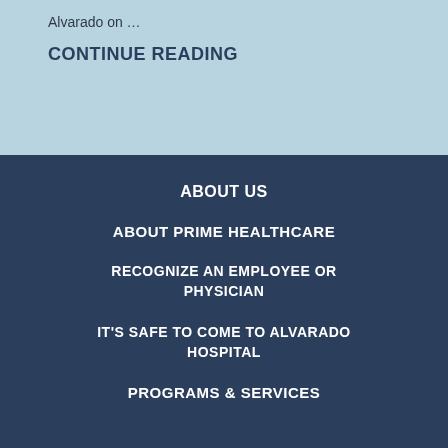Alvarado on …
CONTINUE READING
ABOUT US
ABOUT PRIME HEALTHCARE
RECOGNIZE AN EMPLOYEE OR PHYSICIAN
IT'S SAFE TO COME TO ALVARADO HOSPITAL
PROGRAMS & SERVICES